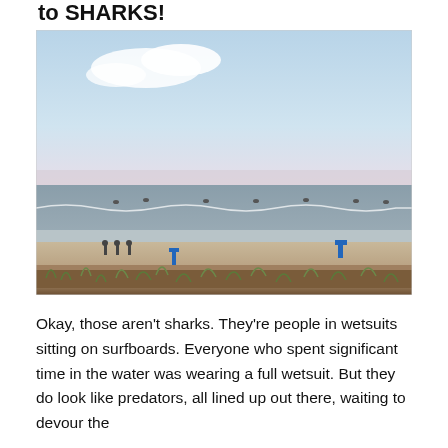to SHARKS!
[Figure (photo): Beach scene with ocean, sky with clouds, sandy beach with people standing near the water, surfers sitting on surfboards visible in the ocean, beach grass and dunes in the foreground, blue marker posts visible on the beach.]
Okay, those aren't sharks. They're people in wetsuits sitting on surfboards. Everyone who spent significant time in the water was wearing a full wetsuit. But they do look like predators, all lined up out there, waiting to devour the